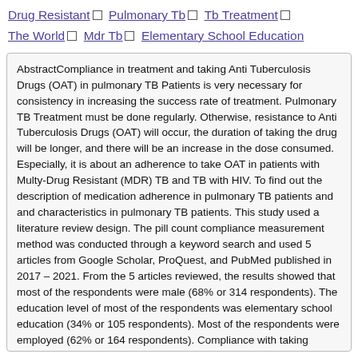Drug Resistant □ Pulmonary Tb □ Tb Treatment □ The World □ Mdr Tb □ Elementary School Education
AbstractCompliance in treatment and taking Anti Tuberculosis Drugs (OAT) in pulmonary TB Patients is very necessary for consistency in increasing the success rate of treatment. Pulmonary TB Treatment must be done regularly. Otherwise, resistance to Anti Tuberculosis Drugs (OAT) will occur, the duration of taking the drug will be longer, and there will be an increase in the dose consumed. Especially, it is about an adherence to take OAT in patients with Multy-Drug Resistant (MDR) TB and TB with HIV. To find out the description of medication adherence in pulmonary TB patients and and characteristics in pulmonary TB patients. This study used a literature review design. The pill count compliance measurement method was conducted through a keyword search and used 5 articles from Google Scholar, ProQuest, and PubMed published in 2017 – 2021. From the 5 articles reviewed, the results showed that most of the respondents were male (68% or 314 respondents). The education level of most of the respondents was elementary school education (34% or 105 respondents). Most of the respondents were employed (62% or 164 respondents). Compliance with taking